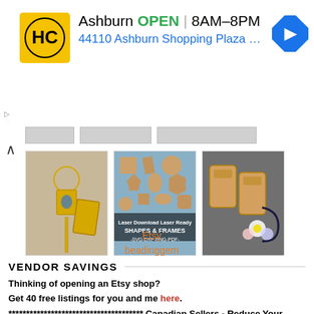[Figure (infographic): Ad banner for HC hardware store: Ashburn OPEN 8AM-8PM, 44110 Ashburn Shopping Plaza 190, A... with yellow HC logo and blue navigation arrow icon]
[Figure (photo): Gallery of three product images: jewelry pieces, laser cut wooden shapes and frames (SVG-DXF-PNG-PDF), and wooden phone cases with flowers]
Etsy beadinggem
VENDOR SAVINGS
Thinking of opening an Etsy shop? Get 40 free listings for you and me here. ************************************** Canadian Sellers - Reduce Your Shipping Costs by up to 71% with CHITCHATS.